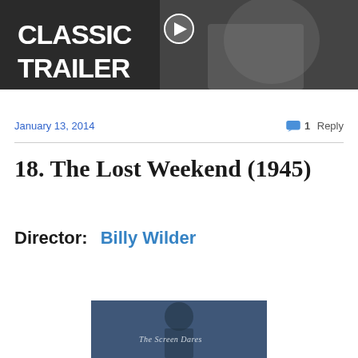[Figure (screenshot): Black and white classic trailer thumbnail image with bold white text 'CLASSIC TRAILER' and a person in the background, with a play button overlay]
January 13, 2014
1 Reply
18. The Lost Weekend (1945)
Director:  Billy Wilder
[Figure (screenshot): Partial view of a movie poster for The Lost Weekend with text 'The Screen Dares']